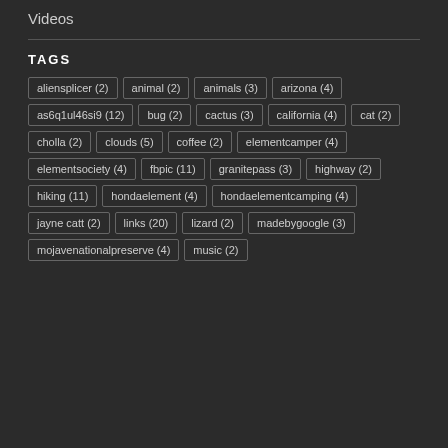Videos
TAGS
aliensplicer (2)
animal (2)
animals (3)
arizona (4)
as6q1ul46si9 (12)
bug (2)
cactus (3)
california (4)
cat (2)
cholla (2)
clouds (5)
coffee (2)
elementcamper (4)
elementsociety (4)
fbpic (11)
granitepass (3)
highway (2)
hiking (11)
hondaelement (4)
hondaelementcamping (4)
jayne catt (2)
links (20)
lizard (2)
madebygoogle (3)
mojavenationalpreserve (4)
music (2)